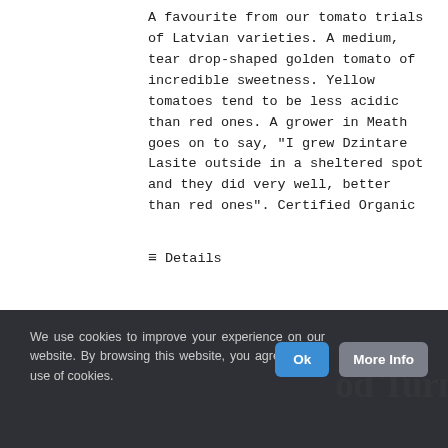A favourite from our tomato trials of Latvian varieties. A medium, tear drop-shaped golden tomato of incredible sweetness. Yellow tomatoes tend to be less acidic than red ones. A grower in Meath goes on to say, "I grew Dzintare Lasite outside in a sheltered spot and they did very well, better than red ones". Certified Organic
≡ Details
We use cookies to improve your experience on our website. By browsing this website, you agree to our use of cookies.